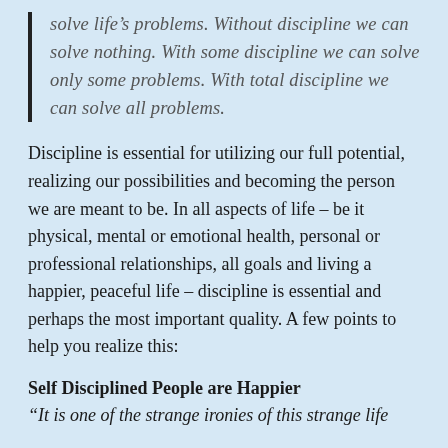solve life's problems. Without discipline we can solve nothing. With some discipline we can solve only some problems. With total discipline we can solve all problems.
Discipline is essential for utilizing our full potential, realizing our possibilities and becoming the person we are meant to be. In all aspects of life – be it physical, mental or emotional health, personal or professional relationships, all goals and living a happier, peaceful life – discipline is essential and perhaps the most important quality. A few points to help you realize this:
Self Disciplined People are Happier
“It is one of the strange ironies of this strange life